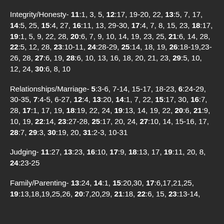Integrity/Honesty- 11:1, 3, 5, 12:17, 19-20, 22, 13:5, 7, 17, 14:5, 25, 15:4, 27, 16:11, 13, 29-30, 17:4, 7, 8, 15, 23, 18:17, 19:1, 5, 9, 22, 28, 20:6, 7, 9, 10, 14, 19, 23, 25, 21:6, 14, 28, 22:5, 12, 28, 23:10-11, 24:28-29, 25:14, 18, 19, 26:18-19,23-26, 28, 27:6, 19, 28:6, 10, 13, 16, 18, 20, 21, 23, 29:5, 10, 12, 24, 30:6, 8, 10
Relationships/Marriage- 5:3-6, 7-14, 15-17, 18-23, 6:24-29, 30-35, 7:4-5, 6-27, 12:4, 13:20, 14:1, 7, 22, 15:17, 30, 16:7, 28, 17:1, 17, 19, 18:19, 22, 24, 19:13, 14, 19, 22, 20:6, 21:9, 10, 19, 22:14, 23:27-28, 25:17, 20, 24, 27:10, 14, 15-16, 17, 28:7, 29:3, 30:19, 20, 31:2-3, 10-31
Judging- 11:27, 13:23, 16:10, 17:9, 18:13, 17, 19:11, 20, 8, 24:23-25
Family/Parenting- 13:24, 14:1, 15:20,30, 17:6,17,21,25, 19:13,18,19,25,26, 20:7,20,29, 21:18, 22:6, 15, 23:13-14,